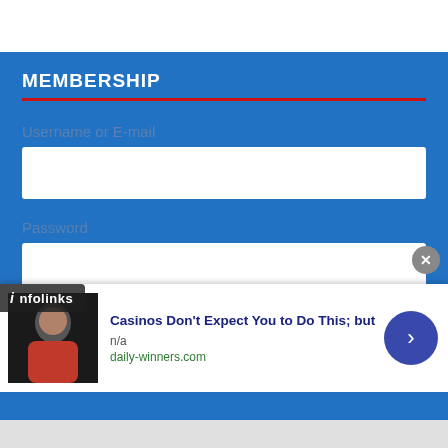MEMBERSHIP
Username or E-mail
Password
Keep me signed in
[Figure (screenshot): Infolinks ad badge overlay]
[Figure (photo): Advertisement image showing a person in red jacket]
Casinos Don't Expect You to Do This; but
n/a
daily-winners.com